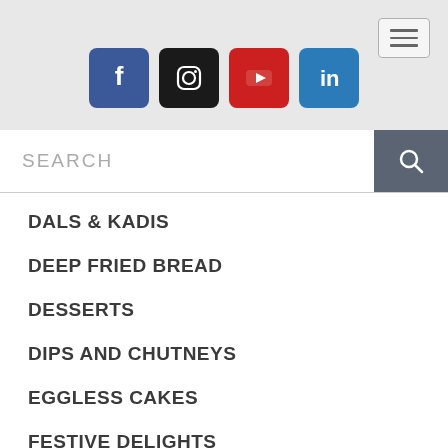[Figure (screenshot): Hamburger menu icon button in top right corner]
[Figure (screenshot): Row of four social media icons: Facebook (blue), Instagram (black), YouTube (red), LinkedIn (blue)]
[Figure (screenshot): Search bar with placeholder text SEARCH and a search button with magnifying glass icon]
DALS & KADIS
DEEP FRIED BREAD
DESSERTS
DIPS AND CHUTNEYS
EGGLESS CAKES
FESTIVE DELIGHTS
FESTIVE THALI / MEAL